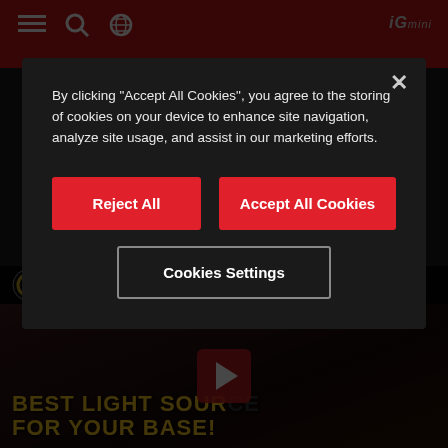[Figure (screenshot): Website screenshot showing a red navigation bar at the top with hamburger menu, search, and globe icons on the left and a logo on the right. Below is a dark background with a YouTube video embed showing 'Torch Comparison For Base Lighti...' with a video thumbnail displaying text 'BEST LIGHT SOURCE FOR YOUR BASE!' in yellow. A cookie consent modal overlay is displayed over the page with options to Reject All, Accept All Cookies, or Cookies Settings.]
By clicking “Accept All Cookies”, you agree to the storing of cookies on your device to enhance site navigation, analyze site usage, and assist in our marketing efforts.
Reject All
Accept All Cookies
Cookies Settings
Torch Comparison For Base Lighti...
BEST LIGHT SOURCE FOR YOUR BASE!